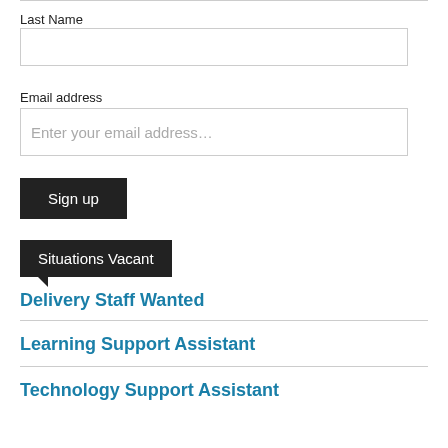Last Name
Email address
Enter your email address…
Sign up
Situations Vacant
Delivery Staff Wanted
Learning Support Assistant
Technology Support Assistant